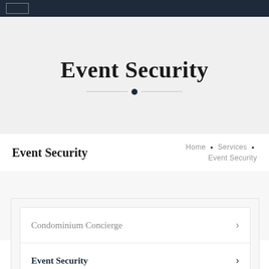Navigation bar with logo
Event Security
Home • Services • Event Security
Event Security
Condominium Concierge
Event Security